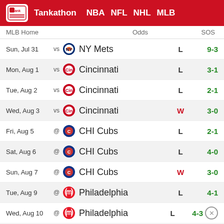Tankathon | NBA | NFL | NHL | MLB
| MLB Home | Odds | SOS |
| --- | --- | --- |
| Sun, Jul 31 | vs NY Mets | L | 9-3 |
| Mon, Aug 1 | vs Cincinnati | L | 3-1 |
| Tue, Aug 2 | vs Cincinnati | L | 2-1 |
| Wed, Aug 3 | vs Cincinnati | W | 3-0 |
| Fri, Aug 5 | @ CHI Cubs | L | 2-1 |
| Sat, Aug 6 | @ CHI Cubs | L | 4-0 |
| Sun, Aug 7 | @ CHI Cubs | W | 3-0 |
| Tue, Aug 9 | @ Philadelphia | L | 4-1 |
| Wed, Aug 10 | @ Philadelphia | L | 4-3 |
| Thu, Aug 11 | @ Philadelphia | W | 3-0 |
| Fri, Aug 12 | @ ... |  | 4-3 |
| Sat, Aug... | @ ... |  | 5-2 |
| Sat, Aug 13 | vs Atlanta |  |  |
[Figure (infographic): Disney Bundle advertisement banner: hulu Disney+ ESPN+ GET THE DISNEY BUNDLE. Incl. Hulu (ad-supported) or Hulu (No Ads). Access content from each service separately. ©2021 Disney and its related entities]